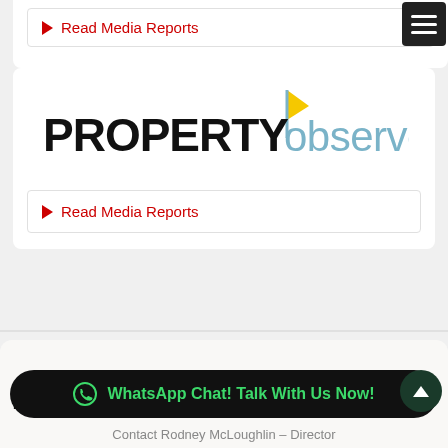▶ Read Media Reports
[Figure (logo): Property Observer logo — bold black PROPERTY text with colorful 'observer' in blue-grey and a yellow flag icon above the 'o']
▶ Read Media Reports
Need Help Buying Property
WhatsApp Chat! Talk With Us Now!
Contact Rodney McLoughlin – Director